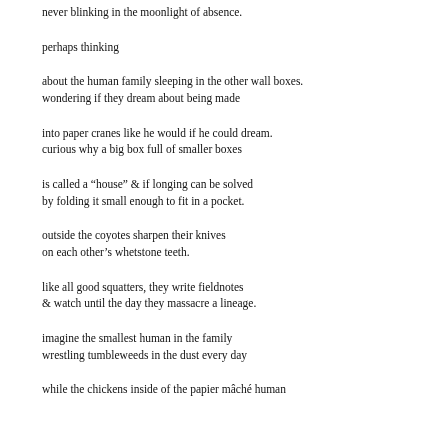never blinking in the moonlight of absence.
perhaps thinking
about the human family sleeping in the other wall boxes.
wondering if they dream about being made
into paper cranes like he would if he could dream.
curious why a big box full of smaller boxes
is called a “house” & if longing can be solved
by folding it small enough to fit in a pocket.
outside the coyotes sharpen their knives
on each other’s whetstone teeth.
like all good squatters, they write fieldnotes
& watch until the day they massacre a lineage.
imagine the smallest human in the family
wrestling tumbleweeds in the dust every day
while the chickens inside of the papier mâché human